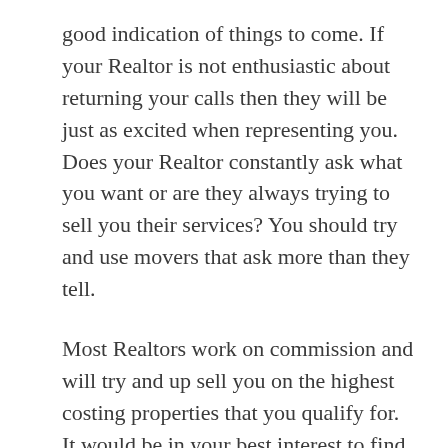good indication of things to come. If your Realtor is not enthusiastic about returning your calls then they will be just as excited when representing you. Does your Realtor constantly ask what you want or are they always trying to sell you their services? You should try and use movers that ask more than they tell.
Most Realtors work on commission and will try and up sell you on the highest costing properties that you qualify for. It would be in your best interest to find out if you are working with a fulltime Realtor or someone who does it as a hobby or a way to earn extra income. An agent that works full time is constantly aware of